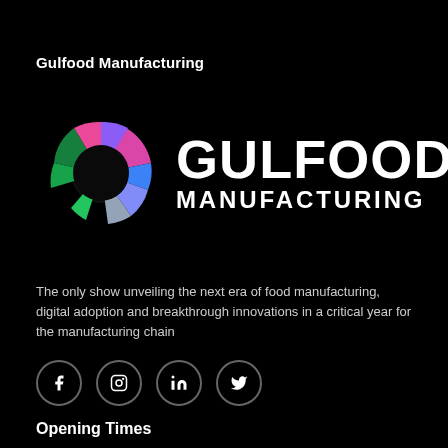Gulfood Manufacturing
[Figure (logo): Gulfood Manufacturing logo with colorful segmented circular icon and bold white text reading GULFOOD MANUFACTURING]
The only show unveiling the next era of food manufacturing, digital adoption and breakthrough innovations in a critical year for the manufacturing chain
[Figure (infographic): Four social media icon buttons in circles: Facebook, Instagram, LinkedIn, Twitter]
Opening Times